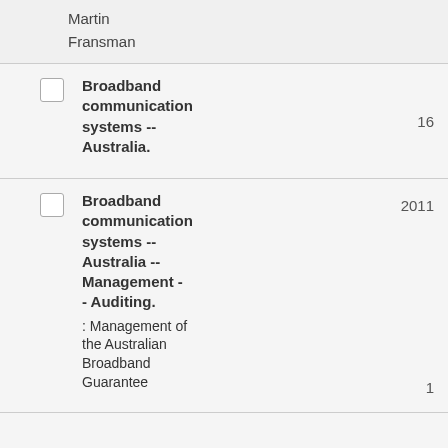Martin
Fransman
Broadband communication systems -- Australia.
16
Broadband communication systems -- Australia -- Management -- Auditing.
: Management of the Australian Broadband Guarantee
2011
1